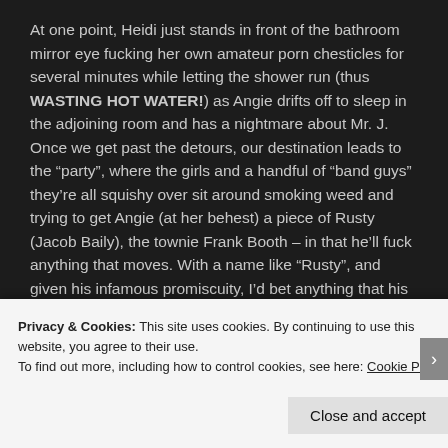At one point, Heidi just stands in front of the bathroom mirror eye fucking her own amateur porn chesticles for several minutes while letting the shower run (thus WASTING HOT WATER!) as Angie drifts off to sleep in the adjoining room and has a nightmare about Mr. J. Once we get past the detours, our destination leads to the “party”, where the girls and a handful of “band guys” they’re all squishy over sit around smoking weed and trying to get Angie (at her behest) a piece of Rusty (Jacob Baily), the townie Frank Booth – in that he’ll fuck anything that moves. With a name like “Rusty”, and given his infamous promiscuity, I’d bet anything that his circulatory system is swimming with more
Privacy & Cookies: This site uses cookies. By continuing to use this website, you agree to their use.
To find out more, including how to control cookies, see here: Cookie Policy
Close and accept